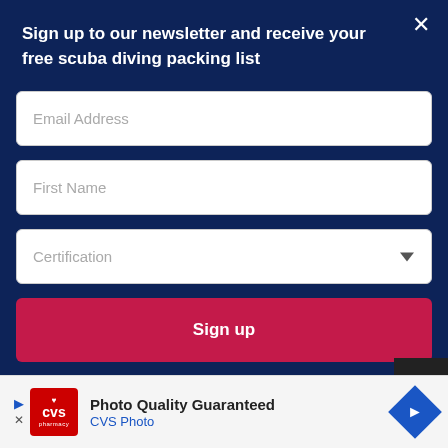Sign up to our newsletter and receive your free scuba diving packing list
[Figure (screenshot): Newsletter signup modal on a dark navy background with three form fields (Email Address, First Name, Certification dropdown) and a red Sign up button]
in Australia.
[Figure (infographic): CVS Pharmacy advertisement banner reading 'Photo Quality Guaranteed' with CVS Photo logo and a blue diamond navigation icon]